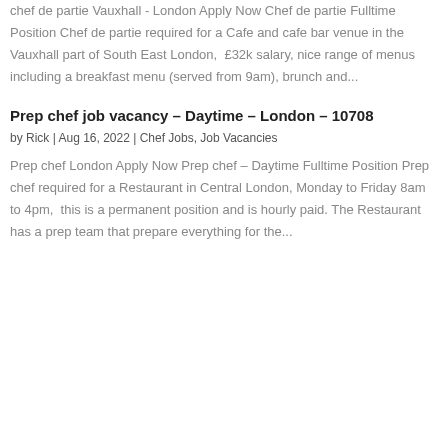chef de partie Vauxhall - London Apply Now Chef de partie Fulltime Position Chef de partie required for a Cafe and cafe bar venue in the Vauxhall part of South East London,  £32k salary, nice range of menus including a breakfast menu (served from 9am), brunch and...
Prep chef job vacancy – Daytime – London – 10708
by Rick | Aug 16, 2022 | Chef Jobs, Job Vacancies
Prep chef London Apply Now Prep chef – Daytime Fulltime Position Prep chef required for a Restaurant in Central London, Monday to Friday 8am to 4pm,  this is a permanent position and is hourly paid. The Restaurant has a prep team that prepare everything for the...